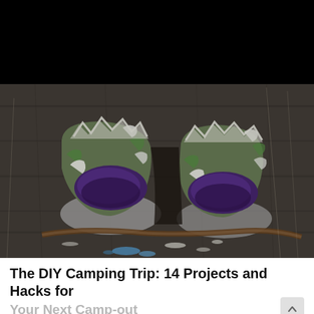[Figure (photo): Black bar at top of screen (UI chrome/status bar area)]
[Figure (photo): Close-up photo of DIY fire starters made from eggshells filled with purple wax, placed on a rustic wooden surface outdoors]
The DIY Camping Trip: 14 Projects and Hacks for Your Next Camp-out